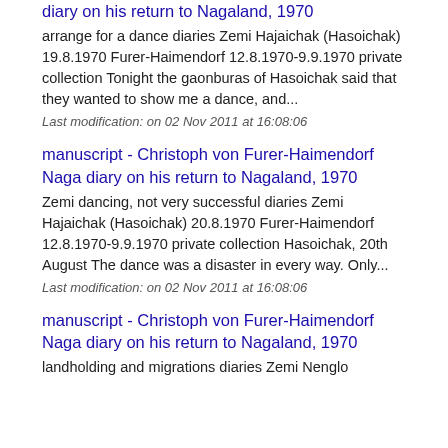diary on his return to Nagaland, 1970
arrange for a dance diaries Zemi Hajaichak (Hasoichak) 19.8.1970 Furer-Haimendorf 12.8.1970-9.9.1970 private collection Tonight the gaonburas of Hasoichak said that they wanted to show me a dance, and...
Last modification: on 02 Nov 2011 at 16:08:06
manuscript - Christoph von Furer-Haimendorf Naga diary on his return to Nagaland, 1970
Zemi dancing, not very successful diaries Zemi Hajaichak (Hasoichak) 20.8.1970 Furer-Haimendorf 12.8.1970-9.9.1970 private collection Hasoichak, 20th August The dance was a disaster in every way. Only...
Last modification: on 02 Nov 2011 at 16:08:06
manuscript - Christoph von Furer-Haimendorf Naga diary on his return to Nagaland, 1970
landholding and migrations diaries Zemi Nenglo